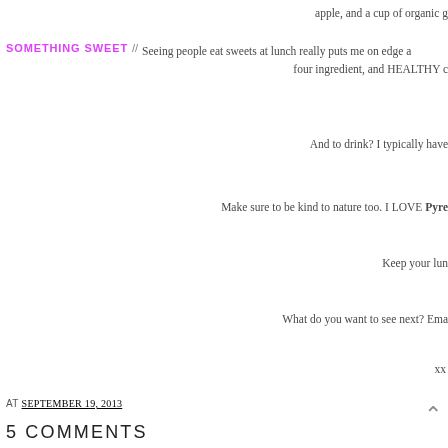apple, and a cup of organic g
SOMETHING SWEET //  Seeing people eat sweets at lunch really puts me on edge a… four ingredient, and HEALTHY c…
And to drink? I typically have
Make sure to be kind to nature too. I LOVE Pyre
Keep your lun
What do you want to see next? Ema
xx
AT SEPTEMBER 19, 2013
5 COMMENTS